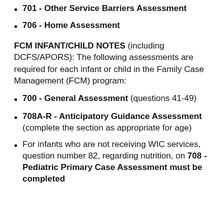701 - Other Service Barriers Assessment
706 - Home Assessment
FCM INFANT/CHILD NOTES (including DCFS/APORS): The following assessments are required for each infant or child in the Family Case Management (FCM) program:
700 - General Assessment (questions 41-49)
708A-R - Anticipatory Guidance Assessment (complete the section as appropriate for age)
For infants who are not receiving WIC services, question number 82, regarding nutrition, on 708 - Pediatric Primary Case Assessment must be completed